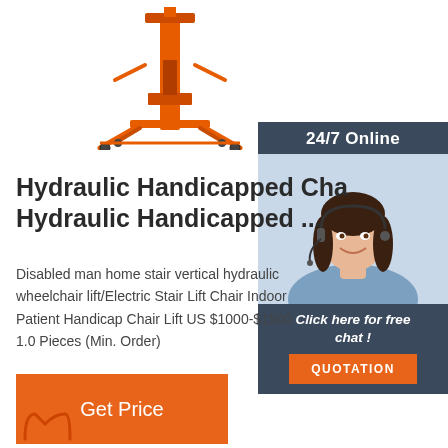[Figure (photo): Orange hydraulic handicapped chair lift / vertical wheelchair lift product photo on white background]
[Figure (photo): 24/7 Online support sidebar with smiling female customer service agent wearing headset, dark blue background, with 'Click here for free chat!' text and orange QUOTATION button]
Hydraulic Handicapped Cha Hydraulic Handicapped ...
Disabled man home stair vertical hydraulic wheelchair lift/Electric Stair Lift Chair Indoor Patient Handicap Chair Lift US $1000-$1500 1.0 Pieces (Min. Order)
[Figure (other): Orange 'Get Price' button]
[Figure (logo): Partial logo at bottom left corner]